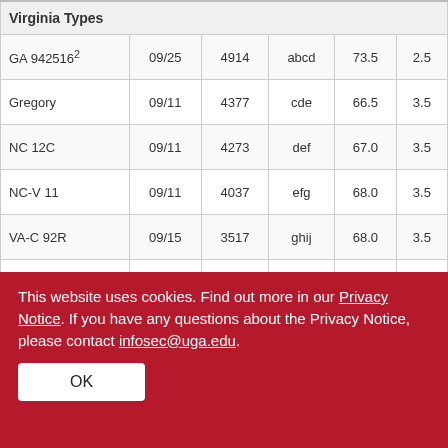|  |  |  |  |  |  |
| --- | --- | --- | --- | --- | --- |
| Virginia Types |  |  |  |  |  |
| GA 942516² | 09/25 | 4914 | abcd | 73.5 | 2.5 |
| Gregory | 09/11 | 4377 | cde | 66.5 | 3.5 |
| NC 12C | 09/11 | 4273 | def | 67.0 | 3.5 |
| NC-V 11 | 09/11 | 4037 | efg | 68.0 | 3.5 |
| VA-C 92R | 09/15 | 3517 | ghij | 68.0 | 3.5 |
| VA 98R | 09/11 | 3140 | hijk | 64.5 | 5.5 |
This website uses cookies. Find out more in our Privacy Notice. If you have any questions about the Privacy Notice, please contact infosec@uga.edu.